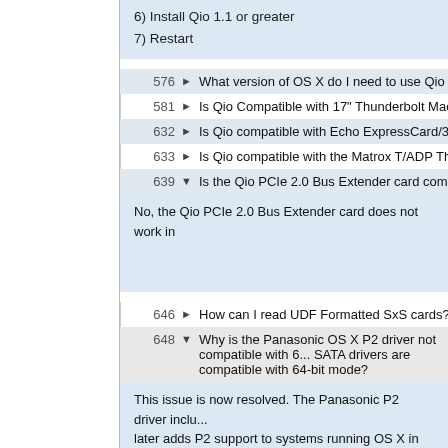6) Install Qio 1.1 or greater
7) Restart
576 ▶ What version of OS X do I need to use Qio with MacBook P...
581 ▶ Is Qio Compatible with 17" Thunderbolt MacBook Pro?
632 ▶ Is Qio compatible with Echo ExpressCard/34 Thunderbolt A...
633 ▶ Is Qio compatible with the Matrox T/ADP Thunderbolt Port...
639 ▼ Is the Qio PCIe 2.0 Bus Extender card compatible in all slo...
No, the Qio PCIe 2.0 Bus Extender card does not work in ...
646 ▶ How can I read UDF Formatted SxS cards?
648 ▼ Why is the Panasonic OS X P2 driver not compatible with 6... SATA drivers are compatible with 64-bit mode?
This issue is now resolved. The Panasonic P2 driver inclu... later adds P2 support to systems running OS X in 64-bit m...